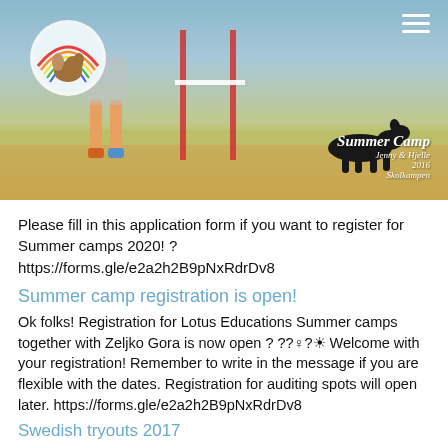[Figure (photo): Outdoor dog agility event photo showing a person with a dog near an agility bar/jump. A black dog is visible. 'Summer Camp' watermark text is in the bottom right corner.]
Please fill in this application form if you want to register for Summer camps 2020! ? https://forms.gle/e2a2h2B9pNxRdrDv8
Summer camp registration is open!
Ok folks! Registration for Lotus Educations Summer camps together with Zeljko Gora is now open ? ??♀?☀ Welcome with your registration! Remember to write in the message if you are flexible with the dates. Registration for auditing spots will open later. https://forms.gle/e2a2h2B9pNxRdrDv8
Swedish tryouts 2017
[scald=201:sdl_editor_representation